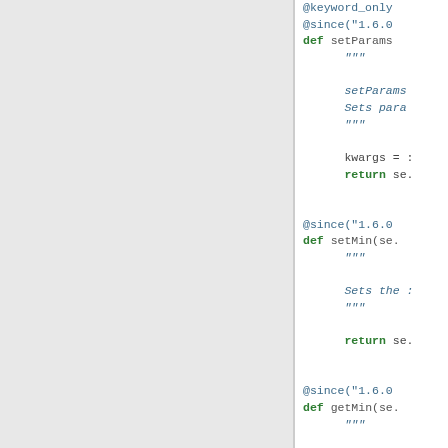[Figure (screenshot): Code editor screenshot showing Python class methods with decorators: setParams, setMin, getMin, setMax. Left panel is grey (navigation/sidebar), right panel shows Python source code with syntax highlighting in green and blue.]